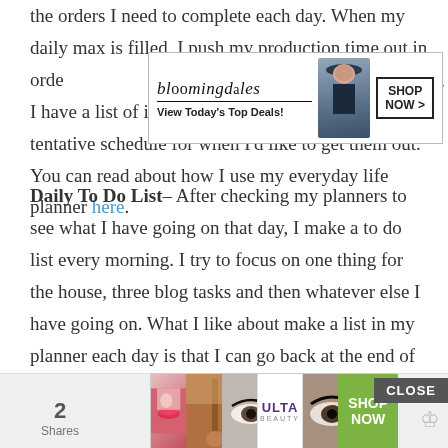the orders I need to complete each day. When my daily max is filled, I push my production time out in orde... blogging, I have a list of idea posts for the month and a tentative schedule for when I'd like to get them out. You can read about how I use my everyday life planner here.
[Figure (other): Bloomingdales advertisement banner: 'bloomingdales — View Today's Top Deals!' with model in hat and 'SHOP NOW >' button]
Daily To Do List– After checking my planners to see what I have going on that day, I make a to do list every morning. I try to focus on one thing for the house, three blog tasks and then whatever else I have going on. What I like about make a list in my planner each day is that I can go back at the end of the week and try to tackle the th...
[Figure (other): ULTA beauty advertisement banner with makeup images, ULTA logo, and 'SHOP NOW' button. Shows close button overlay. Bottom bar also shows '2 Shares' count and crown icon.]